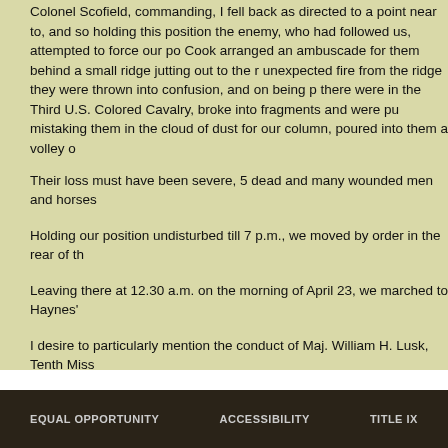Colonel Scofield, commanding, I fell back as directed to a point near to, and so holding this position the enemy, who had followed us, attempted to force our po Cook arranged an ambuscade for them behind a small ridge jutting out to the r unexpected fire from the ridge they were thrown into confusion, and on being p there were in the Third U.S. Colored Cavalry, broke into fragments and were pu mistaking them in the cloud of dust for our column, poured into them a volley o
Their loss must have been severe, 5 dead and many wounded men and horses
Holding our position undisturbed till 7 p.m., we moved by order in the rear of th
Leaving there at 12.30 a.m. on the morning of April 23, we marched to Haynes'
I desire to particularly mention the conduct of Maj. William H. Lusk, Tenth Miss Farley, C Company, Third U.S. Colored Cavalry, who led the charge.
I am, captain, very respectfully, your obedient servant,
E. D. OSBAND,
Colonel, Commanding Third U. S. Colored Cavalry.
Capt. W. H. F. RANDALL,
Assistant Adjutant-General.
Category: Civil War | Subcategory: Reports | Tags: Kansas , Missouri
Related Topics / Keywords / Phrases: 1864, Adam, Ark, Assistant Adjutant-General, Cavalry, G (Mississippi),
EQUAL OPPORTUNITY   ACCESSIBILITY   TITLE IX